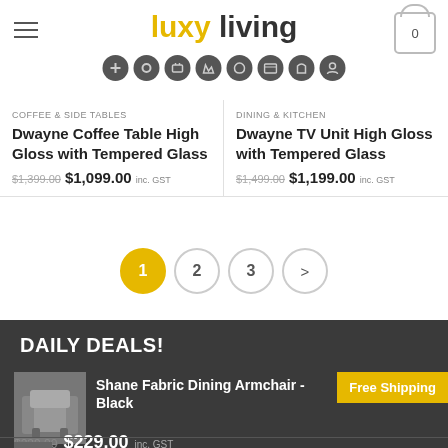luxy living — navigation header with hamburger menu, logo, cart icon, and category nav icons
COFFEE & SIDE TABLES
Dwayne Coffee Table High Gloss with Tempered Glass
$1,399.00  $1,099.00 inc. GST
DINING & KITCHEN
Dwayne TV Unit High Gloss with Tempered Glass
$1,499.00  $1,199.00 inc. GST
Pagination: 1 2 3 >
DAILY DEALS!
Shane Fabric Dining Armchair - Black  Free Shipping
$239.00  $229.00 inc. GST
Replica Eames DAW Eiffel Chair – Ivory Fabric &